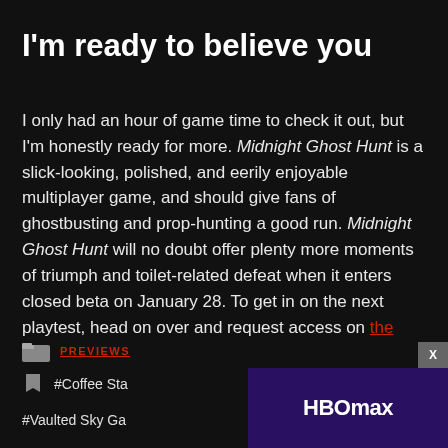I'm ready to believe you
I only had an hour of game time to check it out, but I'm honestly ready for more. Midnight Ghost Hunt is a slick-looking, polished, and eerily enjoyable multiplayer game, and should give fans of ghostbusting and prop-hunting a good run. Midnight Ghost Hunt will no doubt offer plenty more moments of triumph and toilet-related defeat when it enters closed beta on January 28. To get in on the next playtest, head on over and request access on the game's Steam page.
PREVIEWS
#Coffee Sta
#Vaulted Sky Ga